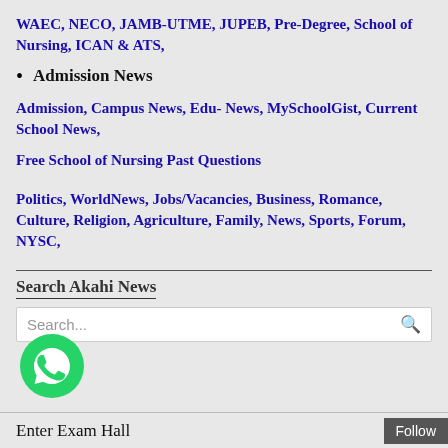WAEC, NECO, JAMB-UTME, JUPEB, Pre-Degree, School of Nursing, ICAN & ATS,
Admission News
Admission, Campus News, Edu- News, MySchoolGist, Current School News,
Free School of Nursing Past Questions
Politics, WorldNews, Jobs/Vacancies, Business, Romance, Culture, Religion, Agriculture, Family, News, Sports, Forum, NYSC,
Search Akahi News
Search...
[Figure (other): WhatsApp contact icon - green circle with white phone/chat logo]
Enter Exam Hall   Follow